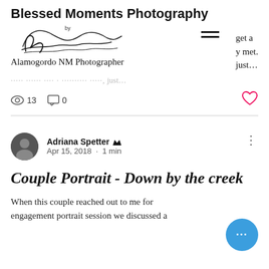Blessed Moments Photography
Alamogordo NM Photographer
get a y met. just...
13 views  0 comments
Adriana Spetter  Admin
Apr 15, 2018 · 1 min
Couple Portrait - Down by the creek
When this couple reached out to me for engagement portrait session we discussed a